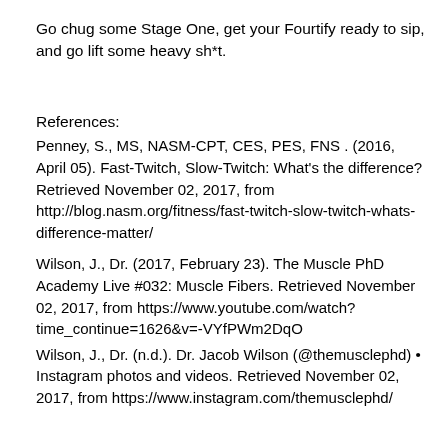Go chug some Stage One, get your Fourtify ready to sip, and go lift some heavy sh*t.
References:
Penney, S., MS, NASM-CPT, CES, PES, FNS . (2016, April 05). Fast-Twitch, Slow-Twitch: What's the difference? Retrieved November 02, 2017, from http://blog.nasm.org/fitness/fast-twitch-slow-twitch-whats-difference-matter/
Wilson, J., Dr. (2017, February 23). The Muscle PhD Academy Live #032: Muscle Fibers. Retrieved November 02, 2017, from https://www.youtube.com/watch?time_continue=1626&v=-VYfPWm2DqO
Wilson, J., Dr. (n.d.). Dr. Jacob Wilson (@themusclephd) • Instagram photos and videos. Retrieved November 02, 2017, from https://www.instagram.com/themusclephd/